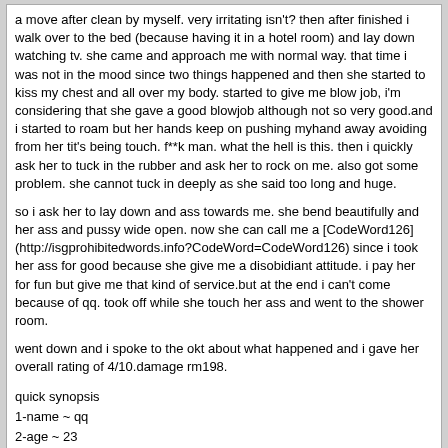a move after clean by myself. very irritating isn't? then after finished i walk over to the bed (because having it in a hotel room) and lay down watching tv. she came and approach me with normal way. that time i was not in the mood since two things happened and then she started to kiss my chest and all over my body. started to give me blow job, i'm considering that she gave a good blowjob although not so very good.and i started to roam but her hands keep on pushing myhand away avoiding from her tit's being touch. f**k man. what the hell is this. then i quickly ask her to tuck in the rubber and ask her to rock on me. also got some problem. she cannot tuck in deeply as she said too long and huge.
so i ask her to lay down and ass towards me. she bend beautifully and her ass and pussy wide open. now she can call me a [CodeWord126] (http://isgprohibitedwords.info?CodeWord=CodeWord126) since i took her ass for good because she give me a disobidiant attitude. i pay her for fun but give me that kind of service.but at the end i can't come because of qq. took off while she touch her ass and went to the shower room.
went down and i spoke to the okt about what happened and i gave her overall rating of 4/10.damage rm198.
quick synopsis
1-name ~ qq
2-age ~ 23
3.boobs ~ 34a
4.skin ~ soft
5-bbbj ~5/10
6.ar ~ forced since she make me down
7.the rest is all 4/10
moralle : not recommended to isg fellow member.
StuBaby22
02-12-07, 10:34
I am a regular at the Renanance and always no problem and I can walk to the Beach Club, have one beer and be back with a princess all within half an hour.